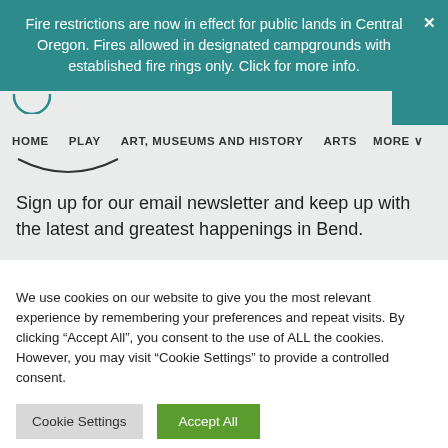Fire restrictions are now in effect for public lands in Central Oregon. Fires allowed in designated campgrounds with established fire rings only. Click for more info.
[Figure (screenshot): Website navigation bar with logo circle, HOME, PLAY, ART MUSEUMS AND HISTORY, ARTS, MORE menu items and teal right bar]
Sign up for our email newsletter and keep up with the latest and greatest happenings in Bend.
We use cookies on our website to give you the most relevant experience by remembering your preferences and repeat visits. By clicking “Accept All”, you consent to the use of ALL the cookies. However, you may visit “Cookie Settings” to provide a controlled consent.
Cookie Settings | Accept All